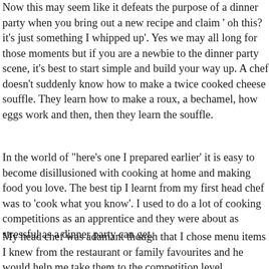Now this may seem like it defeats the purpose of a dinner party when you bring out a new recipe and claim ' oh this? it's just something I whipped up'. Yes we may all long for those moments but if you are a newbie to the dinner party scene, it's best to start simple and build your way up. A chef doesn't suddenly know how to make a twice cooked cheese souffle. They learn how to make a roux, a bechamel, how eggs work and then, then they learn the souffle.
In the world of "here's one I prepared earlier' it is easy to become disillusioned with cooking at home and making food you love. The best tip I learnt from my first head chef was to 'cook what you know'. I used to do a lot of cooking competitions as an apprentice and they were about as stressful as a dinner party can get.
My head chef was adamant though that I chose menu items I knew from the restaurant or family favourites and he would help me take them to the competition level.